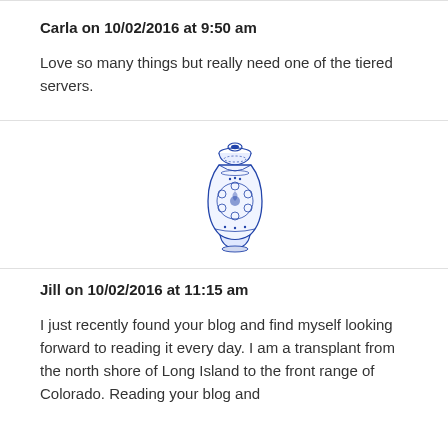Carla on 10/02/2016 at 9:50 am
Love so many things but really need one of the tiered servers.
[Figure (illustration): Blue and white decorative Chinese porcelain vase/ginger jar illustration]
Jill on 10/02/2016 at 11:15 am
I just recently found your blog and find myself looking forward to reading it every day. I am a transplant from the north shore of Long Island to the front range of Colorado. Reading your blog and